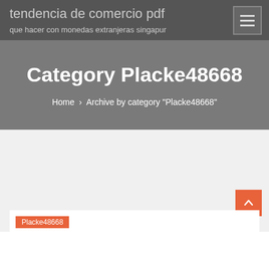tendencia de comercio pdf
que hacer con monedas extranjeras singapur
Category Placke48668
Home › Archive by category "Placke48668"
Placke48668